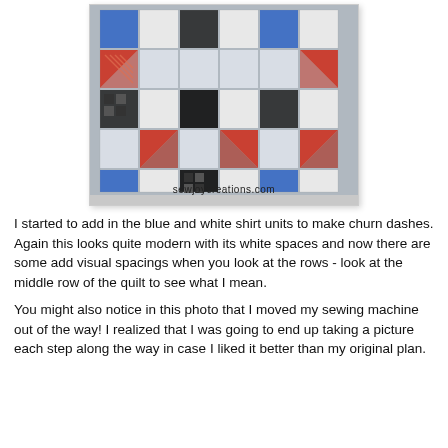[Figure (photo): A quilt in progress laid out flat, featuring a churn dash pattern with blue, black, white, and red/orange striped fabric pieces arranged in a geometric design. The image has a watermark 'sewjoycreations.com' at the bottom.]
I started to add in the blue and white shirt units to make churn dashes.
Again this looks quite modern with its white spaces and now there are some add visual spacings when you look at the rows - look at the middle row of the quilt to see what I mean.
You might also notice in this photo that I moved my sewing machine out of the way! I realized that I was going to end up taking a picture each step along the way in case I liked it better than my original plan.